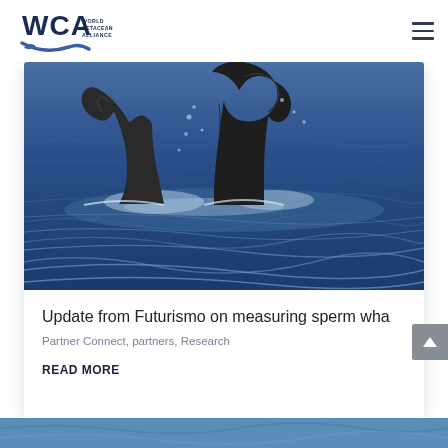[Figure (logo): WCA World Cetacean Alliance logo with whale tail graphic and text]
[Figure (photo): Whale tail flukes rising out of dark blue ocean water, with water droplets, two whale tails visible]
Update from Futurismo on measuring sperm wha
Partner Connect, partners, Research
READ MORE
[Figure (photo): Partial blue ocean/water image at bottom of page (cropped)]